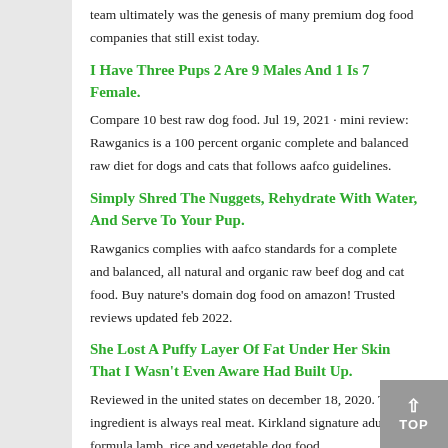team ultimately was the genesis of many premium dog food companies that still exist today.
I Have Three Pups 2 Are 9 Males And 1 Is 7 Female.
Compare 10 best raw dog food. Jul 19, 2021 · mini review: Rawganics is a 100 percent organic complete and balanced raw diet for dogs and cats that follows aafco guidelines.
Simply Shred The Nuggets, Rehydrate With Water, And Serve To Your Pup.
Rawganics complies with aafco standards for a complete and balanced, all natural and organic raw beef dog and cat food. Buy nature's domain dog food on amazon! Trusted reviews updated feb 2022.
She Lost A Puffy Layer Of Fat Under Her Skin That I Wasn't Even Aware Had Built Up.
Reviewed in the united states on december 18, 2020. The #1 ingredient is always real meat. Kirkland signature adult formula lamb, rice and vegetable dog food